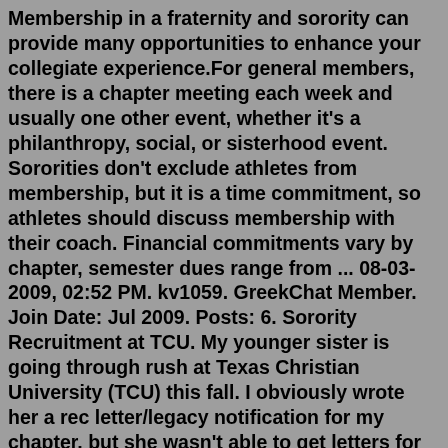Membership in a fraternity and sorority can provide many opportunities to enhance your collegiate experience.For general members, there is a chapter meeting each week and usually one other event, whether it's a philanthropy, social, or sisterhood event. Sororities don't exclude athletes from membership, but it is a time commitment, so athletes should discuss membership with their coach. Financial commitments vary by chapter, semester dues range from ... 08-03-2009, 02:52 PM. kv1059. GreekChat Member. Join Date: Jul 2009. Posts: 6. Sorority Recruitment at TCU. My younger sister is going through rush at Texas Christian University (TCU) this fall. I obviously wrote her a rec letter/legacy notification for my chapter, but she wasn't able to get letters for most of the other chapters on campus so ...Since its inception in 1987, the HAPF Scholarship Fund has awarded scholarships to 645 women, totaling $1,202,700.00, enrolled in accredited colleges and universities across the country. $66,100 was awarded to 21 collegiate in